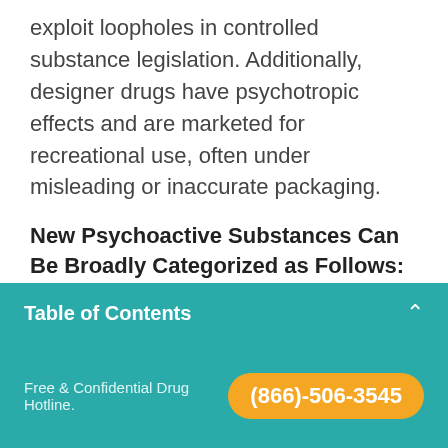exploit loopholes in controlled substance legislation. Additionally, designer drugs have psychotropic effects and are marketed for recreational use, often under misleading or inaccurate packaging.
New Psychoactive Substances Can Be Broadly Categorized as Follows:
Substituted Cathinones– Most synthetic drugs come from the derivatives of cathinone and are being sold as bath salts. These cathinones include methylenedioxypyrovalerone sold on…
Table of Contents
Free & Confidential Drug Hotline. (866)-506-3545